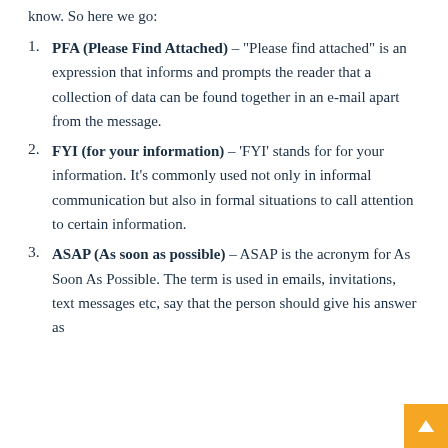know. So here we go:
PFA (Please Find Attached) – "Please find attached" is an expression that informs and prompts the reader that a collection of data can be found together in an e-mail apart from the message.
FYI (for your information) – 'FYI' stands for for your information. It's commonly used not only in informal communication but also in formal situations to call attention to certain information.
ASAP (As soon as possible) – ASAP is the acronym for As Soon As Possible. The term is used in emails, invitations, text messages etc, say that the person should give his answer as